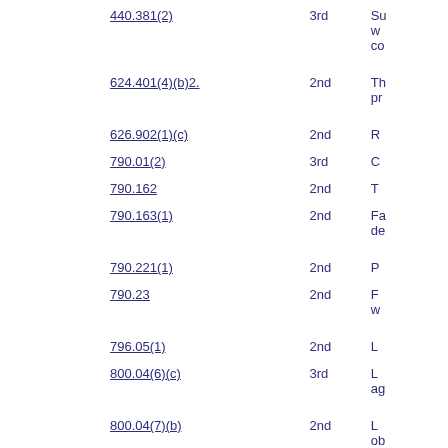| Statute | Degree | Description (partial) |
| --- | --- | --- |
| 440.381(2) | 3rd | Su... w... co... |
| 624.401(4)(b)2. | 2nd | Th... pr... |
| 626.902(1)(c) | 2nd | R... |
| 790.01(2) | 3rd | C... |
| 790.162 | 2nd | T... |
| 790.163(1) | 2nd | Fa... de... |
| 790.221(1) | 2nd | P... |
| 790.23 | 2nd | F... w... |
| 796.05(1) | 2nd | L... |
| 800.04(6)(c) | 3rd | L... ag... |
| 800.04(7)(b) | 2nd | L... ob... |
| 806.111(1) | 3rd | P... da... |